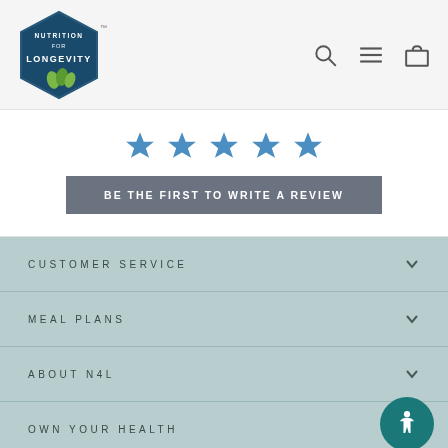[Figure (logo): Nutrition for Longevity hexagon logo with plant icon]
[Figure (other): Navigation icons: search, hamburger menu, shopping bag]
[Figure (other): Five blue star rating icons]
BE THE FIRST TO WRITE A REVIEW
CUSTOMER SERVICE
MEAL PLANS
ABOUT N4L
OWN YOUR HEALTH
[Figure (other): Accessibility icon button (person in circle)]